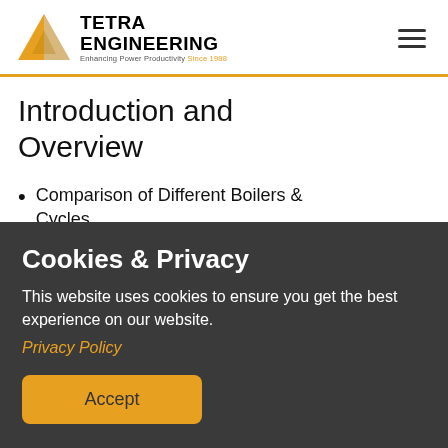[Figure (logo): Tetra Engineering logo with gold triangle graphic, company name 'TETRA ENGINEERING' and tagline 'Enhancing Power Productivity Since 1988']
Introduction and Overview
Comparison of Different Boilers & Cycles
Cookies & Privacy
This website uses cookies to ensure you get the best experience on our website.
Privacy Policy
Accept